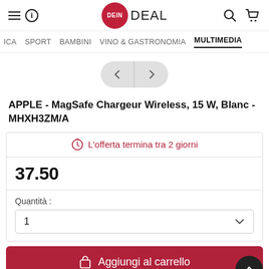DeinDeal - Navigation header with logo, search and cart icons
ICA  SPORT  BAMBINI  VINO & GASTRONOMIA  MULTIMEDIA
[Figure (other): Carousel navigation buttons with left and right arrows]
APPLE - MagSafe Chargeur Wireless, 15 W, Blanc - MHXH3ZM/A
L'offerta termina tra 2 giorni
37.50
Quantità :
1
Aggiungi al carrello